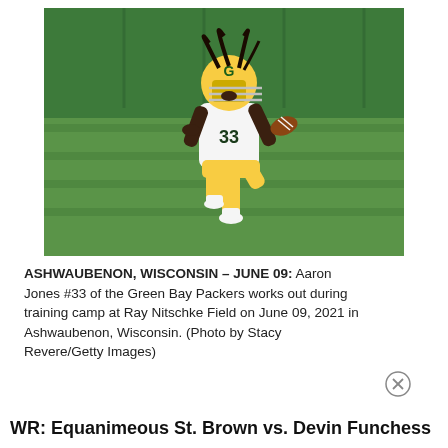[Figure (photo): Aaron Jones #33 of the Green Bay Packers in white uniform and gold helmet catching a football during training camp on a grass field with a green tarp in the background.]
ASHWAUBENON, WISCONSIN – JUNE 09: Aaron Jones #33 of the Green Bay Packers works out during training camp at Ray Nitschke Field on June 09, 2021 in Ashwaubenon, Wisconsin. (Photo by Stacy Revere/Getty Images)
WR: Equanimeous St. Brown vs. Devin Funchess